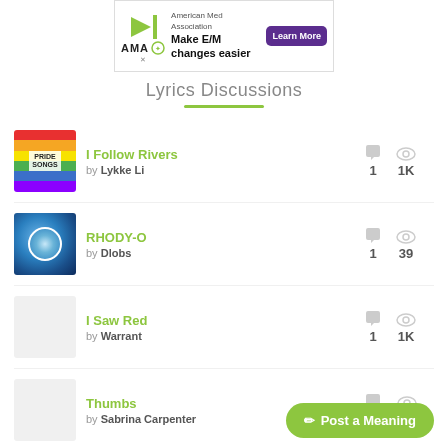[Figure (screenshot): AMA advertisement banner: American Med Association - Make E/M changes easier - Learn More button]
Lyrics Discussions
I Follow Rivers by Lykke Li — comments: 1, views: 1K
RHODY-O by Dlobs — comments: 1, views: 39
I Saw Red by Warrant — comments: 1, views: 1K
Thumbs by Sabrina Carpenter — comments: 1, views: 859
Change of the Guard by Steely Dan — comments: 1, views: 830